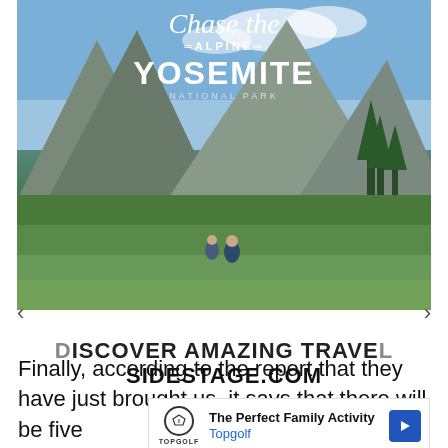[Figure (photo): Advertisement banner for Sidestage.com showing a Yosemite National Park alpine travel ad with mountains and hikers, overlaid with text 'Chase the ALPINE YOSEMITE NATIONAL PARK', navigation arrows, and call-to-action text 'DISCOVER AMAZING TRAVEL SIDESTAGE.COM']
Finally, according to the report that they have just brought us, it says that there will be five
[Figure (screenshot): Inline advertisement for Topgolf: 'The Perfect Family Activity' with Topgolf logo and a blue directional arrow icon]